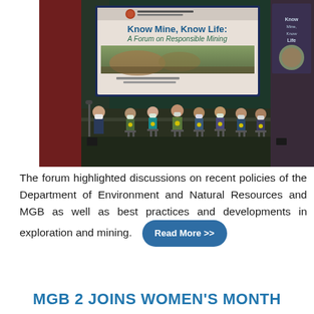[Figure (photo): Panel discussion on stage at 'Know Mine, Know Life: A Forum on Responsible Mining'. Multiple panelists wearing face masks and lanyards are seated on stage in front of a large presentation screen showing the forum title. One speaker stands at a microphone on the left.]
The forum highlighted discussions on recent policies of the Department of Environment and Natural Resources and MGB as well as best practices and developments in exploration and mining.
MGB 2 JOINS WOMEN'S MONTH